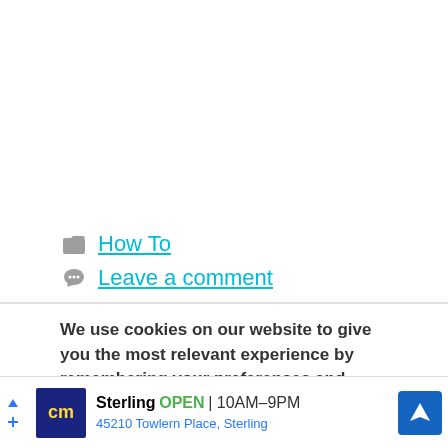How To
Leave a comment
We use cookies on our website to give you the most relevant experience by remembering your preferences and repeat visits. By clicking “Accept”, you consent to the use of ALL the cookies. Do not sell my personal information.
[Figure (other): Cookie consent buttons: grey Reject/Manage button and green Accept button]
[Figure (other): Advertisement banner: CM logo, Sterling store, OPEN 10AM-9PM, 45210 Towlern Place Sterling, navigation arrow icon]